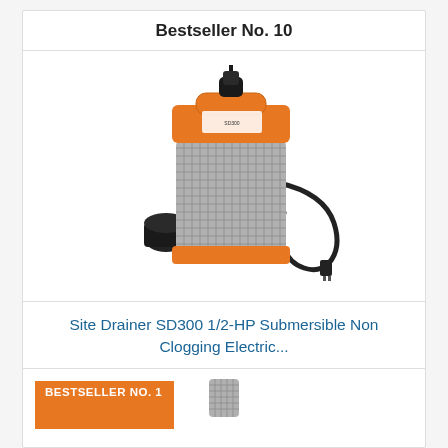Bestseller No. 10
[Figure (photo): Orange and silver submersible pump (Site Drainer SD300) with power cord, viewed from a slightly elevated angle against a white background.]
Site Drainer SD300 1/2-HP Submersible Non Clogging Electric...
Buy on Amazon
BESTSELLER NO. 1